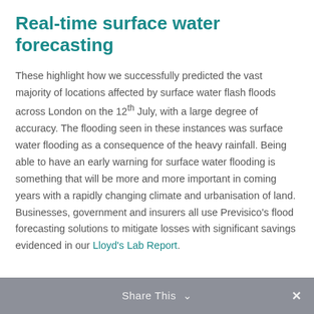Real-time surface water forecasting
These highlight how we successfully predicted the vast majority of locations affected by surface water flash floods across London on the 12th July, with a large degree of accuracy. The flooding seen in these instances was surface water flooding as a consequence of the heavy rainfall. Being able to have an early warning for surface water flooding is something that will be more and more important in coming years with a rapidly changing climate and urbanisation of land. Businesses, government and insurers all use Previsico's flood forecasting solutions to mitigate losses with significant savings evidenced in our Lloyd's Lab Report.
Share This ∨  ✕